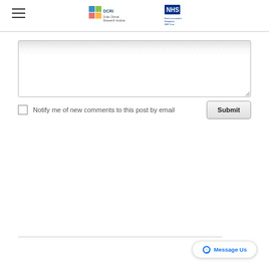DCRI / NHS header with logos and hamburger menu
[Figure (screenshot): Comment text area input box with resize handle]
Notify me of new comments to this post by email
[Figure (screenshot): Submit button]
[Figure (screenshot): Message Us Facebook Messenger button at bottom right]